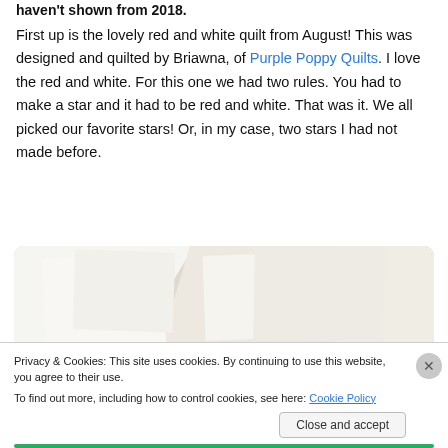haven't shown from 2018.
First up is the lovely red and white quilt from August! This was designed and quilted by Briawna, of Purple Poppy Quilts. I love the red and white. For this one we had two rules. You had to make a star and it had to be red and white. That was it. We all picked our favorite stars! Or, in my case, two stars I had not made before.
[Figure (photo): Partial photo of a red and white quilt, showing white fabric folds and red triangular star points visible at the bottom, on a light beige background.]
Privacy & Cookies: This site uses cookies. By continuing to use this website, you agree to their use.
To find out more, including how to control cookies, see here: Cookie Policy